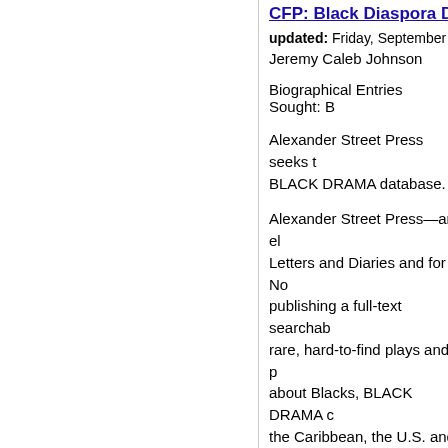CFP: Black Diaspora D
updated: Friday, September
Jeremy Caleb Johnson
Biographical Entries Sought: B
Alexander Street Press seeks t BLACK DRAMA database.
Alexander Street Press—an el Letters and Diaries and for No publishing a full-text searchab rare, hard-to-find plays and p about Blacks, BLACK DRAMA c the Caribbean, the U.S. and C
CFP: Black Diaspora D
updated: Friday, September